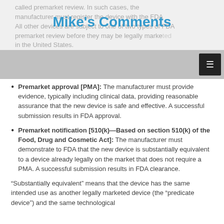called premarket review. In such cases, the manufacturer must register the device with the FDA All other devices are subject to one of two types of FDA premarket review before they may be legally marketed in the United States.
Mike's Comments
Premarket approval [PMA]: The manufacturer must provide evidence, typically including clinical data, providing reasonable assurance that the new device is safe and effective. A successful submission results in FDA approval.
Premarket notification [510(k)—Based on section 510(k) of the Food, Drug and Cosmetic Act]: The manufacturer must demonstrate to FDA that the new device is substantially equivalent to a device already legally on the market that does not require a PMA. A successful submission results in FDA clearance.
“Substantially equivalent” means that the device has the same intended use as another legally marketed device (the “predicate device”) and the same technological